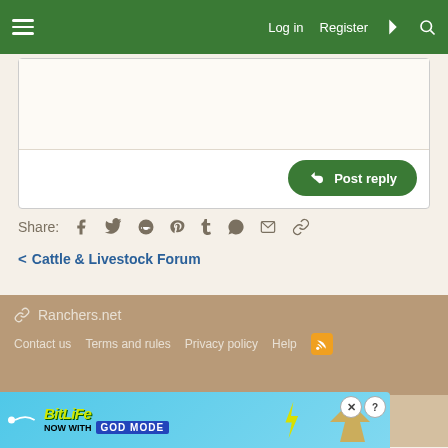Log in  Register
[Figure (screenshot): Reply text area (empty) with Post reply button]
Share:
< Cattle & Livestock Forum
Ranchers.net  Contact us  Terms and rules  Privacy policy  Help  Community platform by XenForo® © 2010-2022 XenForo Ltd.
[Figure (screenshot): BitLife - Now with GOD MODE advertisement banner]